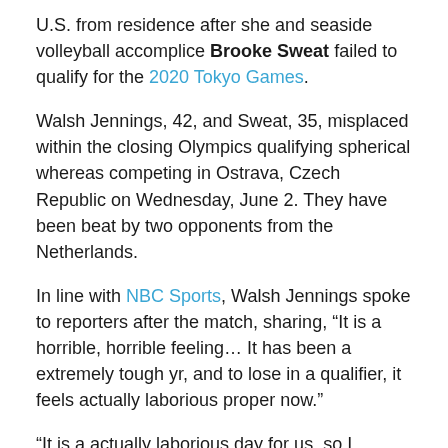U.S. from residence after she and seaside volleyball accomplice Brooke Sweat failed to qualify for the 2020 Tokyo Games.
Walsh Jennings, 42, and Sweat, 35, misplaced within the closing Olympics qualifying spherical whereas competing in Ostrava, Czech Republic on Wednesday, June 2. They have been beat by two opponents from the Netherlands.
In line with NBC Sports, Walsh Jennings spoke to reporters after the match, sharing, “It is a horrible, horrible feeling… It has been a extremely tough yr, and to lose in a qualifier, it feels actually laborious proper now.”
“It is a actually laborious day for us, so I believe we’ll really feel the ache,” she added.
Kelly Shear, 35, and Brooke Sweat, 34, attended the closing...